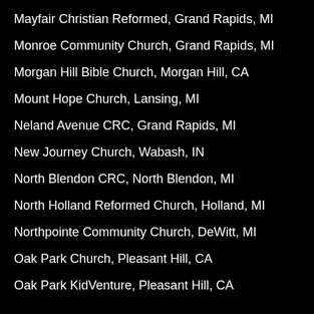Mayfair Christian Reformed, Grand Rapids, MI
Monroe Community Church, Grand Rapids, MI
Morgan Hill Bible Church, Morgan Hill, CA
Mount Hope Church, Lansing, MI
Neland Avenue CRC, Grand Rapids, MI
New Journey Church, Wabash, IN
North Blendon CRC, North Blendon, MI
North Holland Reformed Church, Holland, MI
Northpointe Community Church, DeWitt, MI
Oak Park Church, Pleasant Hill, CA
Oak Park KidVenture, Pleasant Hill, CA